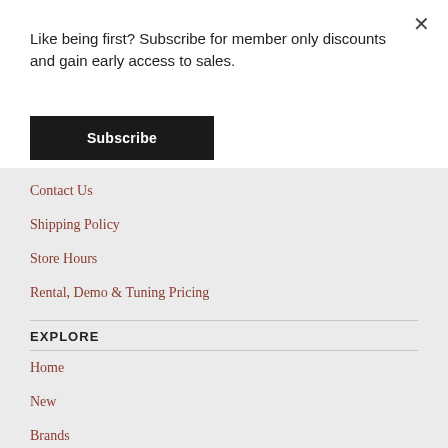Like being first? Subscribe for member only discounts and gain early access to sales.
× (close button)
Subscribe
Contact Us
Shipping Policy
Store Hours
Rental, Demo & Tuning Pricing
EXPLORE
Home
New
Brands
Ladies